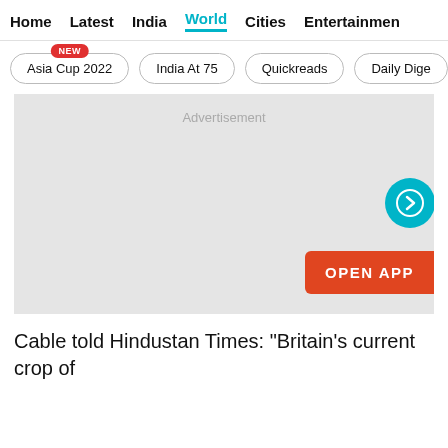Home  Latest  India  World  Cities  Entertainment
Asia Cup 2022 [NEW]
India At 75
Quickreads
Daily Dige
[Figure (other): Advertisement placeholder area with an Open App button and a teal arrow navigation button on the right side]
Cable told Hindustan Times: “Britain’s current crop of